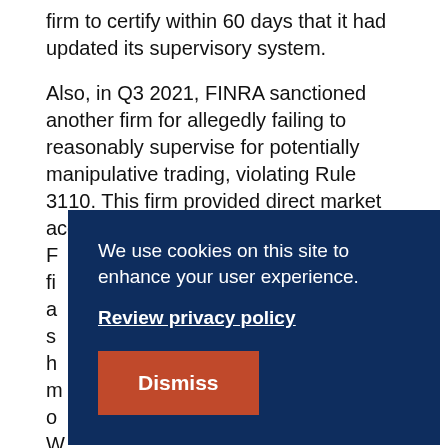firm to certify within 60 days that it had updated its supervisory system.
Also, in Q3 2021, FINRA sanctioned another firm for allegedly failing to reasonably supervise for potentially manipulative trading, violating Rule 3110. This firm provided direct market access to domestic and foreign customers. FINRA found the firm... [partially obscured by cookie banner] ...these reports were not reasonably designed to identify the manipulation they were meant to flag
We use cookies on this site to enhance your user experience.

Review privacy policy

Dismiss